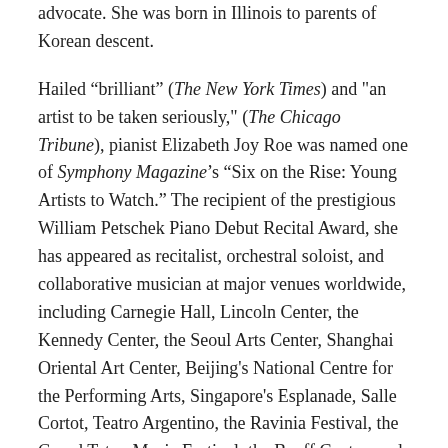advocate. She was born in Illinois to parents of Korean descent.
Hailed “brilliant” (The New York Times) and "an artist to be taken seriously," (The Chicago Tribune), pianist Elizabeth Joy Roe was named one of Symphony Magazine’s “Six on the Rise: Young Artists to Watch.” The recipient of the prestigious William Petschek Piano Debut Recital Award, she has appeared as recitalist, orchestral soloist, and collaborative musician at major venues worldwide, including Carnegie Hall, Lincoln Center, the Kennedy Center, the Seoul Arts Center, Shanghai Oriental Art Center, Beijing's National Centre for the Performing Arts, Singapore's Esplanade, Salle Cortot, Teatro Argentino, the Ravinia Festival, the Grand Teton Music Festival, the Banff Centre, and the Festspiele Mecklenburg-Vorpommern.
Earlier this year, Elizabeth made her debut as a recording artist for Decca Classics with a critically acclaimed release of the Britten & Barber Piano Concertos with the London Symphony Orchestra. Additional career highlights include broadcasts on